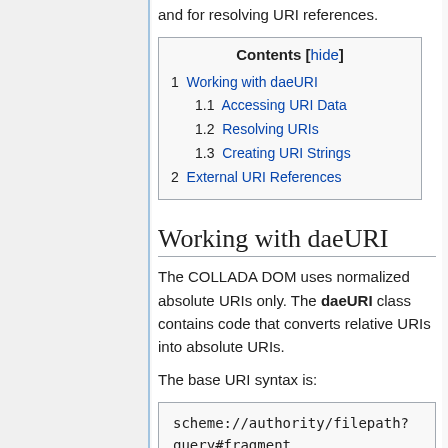and for resolving URI references.
| Contents [hide] |
| --- |
| 1  Working with daeURI |
| 1.1  Accessing URI Data |
| 1.2  Resolving URIs |
| 1.3  Creating URI Strings |
| 2  External URI References |
Working with daeURI
The COLLADA DOM uses normalized absolute URIs only. The daeURI class contains code that converts relative URIs into absolute URIs.
The base URI syntax is:
scheme://authority/filepath?query#fragment